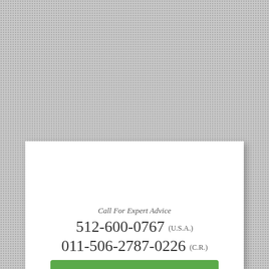Call For Expert Advice
512-600-0767 (U.S.A.)
011-506-2787-0226 (C.R.)